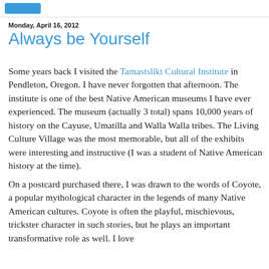[blue button/logo area]
Monday, April 16, 2012
Always be Yourself
Some years back I visited the Tamastslikt Cultural Institute in Pendleton, Oregon. I have never forgotten that afternoon. The institute is one of the best Native American museums I have ever experienced. The museum (actually 3 total) spans 10,000 years of history on the Cayuse, Umatilla and Walla Walla tribes. The Living Culture Village was the most memorable, but all of the exhibits were interesting and instructive (I was a student of Native American history at the time).
On a postcard purchased there, I was drawn to the words of Coyote, a popular mythological character in the legends of many Native American cultures. Coyote is often the playful, mischievous, trickster character in such stories, but he plays an important transformative role as well. I love